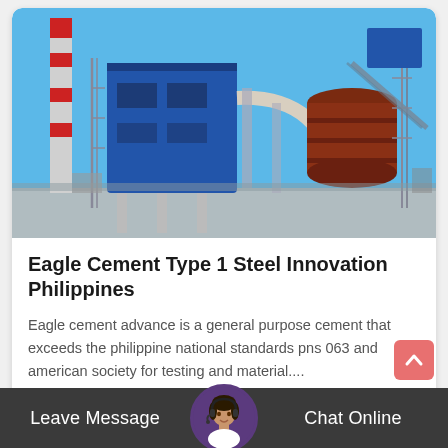[Figure (photo): Industrial cement/steel plant facility with blue dust collector, large tanks, tall chimneys with red and white stripes, metal scaffolding structures, and conveyor/pipe systems against a clear blue sky.]
Eagle Cement Type 1 Steel Innovation Philippines
Eagle cement advance is a general purpose cement that exceeds the philippine national standards pns 063 and american society for testing and material....
READ MORE ➤
Leave Message   Chat Online